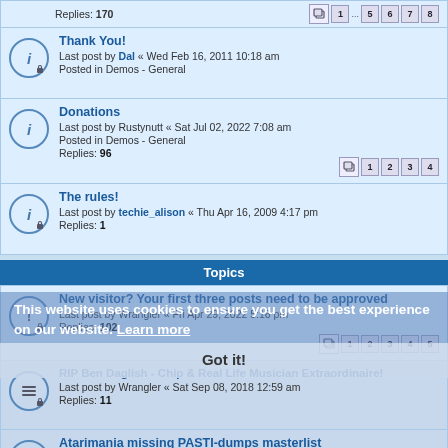Replies: 170  [pagination: 1 ... 5 6 7 8]
Thank You!
Last post by Dal « Wed Feb 16, 2011 10:18 am
Posted in Demos - General
Donations
Last post by Rustynutt « Sat Jul 02, 2022 7:08 am
Posted in Demos - General
Replies: 96  [pagination: 1 2 3 4]
The rules!
Last post by techie_alison « Thu Apr 16, 2009 4:17 pm
Replies: 1
Topics
New visitor? Your first three posts need to be approved
Last post by Wrangler « Fri Apr 29, 2022 5:16 pm
Replies: 102  [pagination: 1 2 3 4 5]
RIP Ben Daglish - Chip & Real Life Musician Extraordinaire!
Last post by Wrangler « Sat Sep 08, 2018 12:59 am
Replies: 11
This website uses cookies to ensure you get the best experience on our website. Learn more
Atarimania missing PASTI-dumps masterlist
Last post by AtariZoll « Fri Aug 23, 2013 7:18 pm
Replies: 72  [pagination: 1 2 3]
STar Fleet HQ BBS - SEE Tournament
Last post by Tillek « Thu Sep 01, 2022 10:39 am